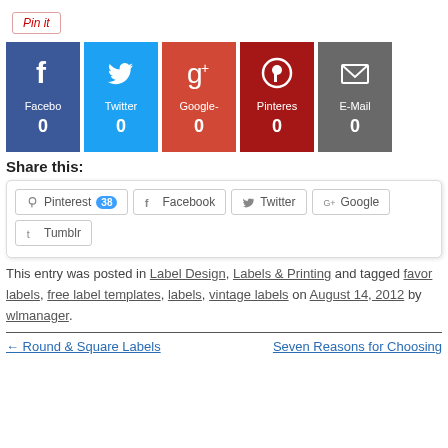[Figure (other): Pin it button (Pinterest save button)]
[Figure (infographic): Social share count blocks: Facebook(0), Twitter(0), Google+(0), Pinterest(0), E-Mail(0)]
Share this:
[Figure (infographic): Share buttons: Pinterest 38, Facebook, Twitter, Google, Tumblr]
This entry was posted in Label Design, Labels & Printing and tagged favor labels, free label templates, labels, vintage labels on August 14, 2012 by wlmanager.
← Round & Square Labels
Seven Reasons for Choosing